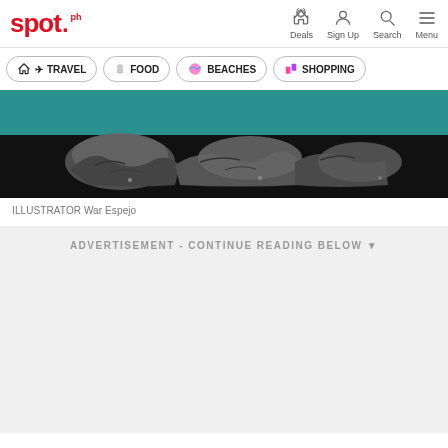spot.ph — Deals | Sign Up | Search | Menu
TRAVEL
FOOD
BEACHES
SHOPPING
[Figure (photo): Black and white photo of crumpled clothing items arranged on a dark surface with teal background]
ILLUSTRATOR War Espejo
ADVERTISEMENT - CONTINUE READING BELOW